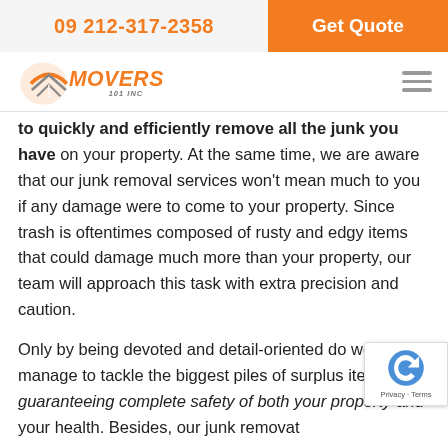09 212-317-2358  |  Get Quote
[Figure (logo): Movers 101 Inc logo with orange road/arrow graphic and stylized text]
to quickly and efficiently remove all the junk you have on your property. At the same time, we are aware that our junk removal services won't mean much to you if any damage were to come to your property. Since trash is oftentimes composed of rusty and edgy items that could damage much more than your property, our team will approach this task with extra precision and caution.
Only by being devoted and detail-oriented do we manage to tackle the biggest piles of surplus items while guaranteeing complete safety of both your property and your health. Besides, our junk removat